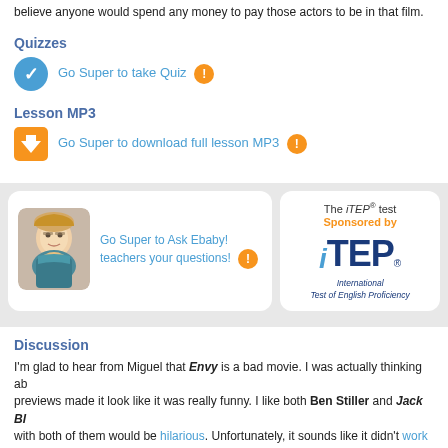believe anyone would spend any money to pay those actors to be in that film.
Quizzes
Go Super to take Quiz
Lesson MP3
Go Super to download full lesson MP3
[Figure (photo): Photo of a smiling female teacher with glasses and blonde hair]
Go Super to Ask Ebaby! teachers your questions!
[Figure (logo): iTEP International Test of English Proficiency logo with text 'The iTEP® test' and 'Sponsored by']
Discussion
I'm glad to hear from Miguel that Envy is a bad movie. I was actually thinking ab... previews made it look like it was really funny. I like both Ben Stiller and Jack Bl... with both of them would be hilarious. Unfortunately, it sounds like it didn't work o...